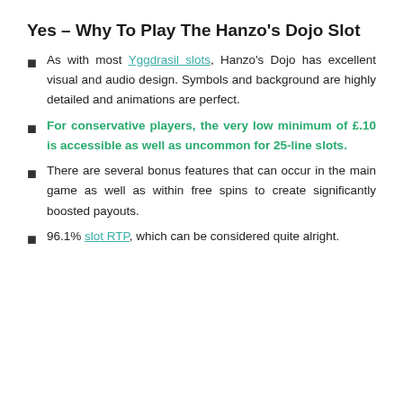Yes – Why To Play The Hanzo's Dojo Slot
As with most Yggdrasil slots, Hanzo's Dojo has excellent visual and audio design. Symbols and background are highly detailed and animations are perfect.
For conservative players, the very low minimum of £.10 is accessible as well as uncommon for 25-line slots.
There are several bonus features that can occur in the main game as well as within free spins to create significantly boosted payouts.
96.1% slot RTP, which can be considered quite alright.